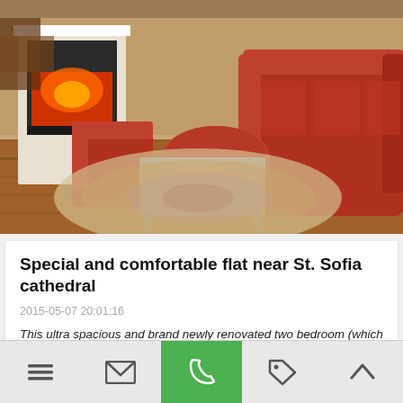[Figure (photo): Interior photo of a living room with red/burgundy sofas, a glass coffee table, an ornate rug, and a white fireplace with glowing orange fire on the left wall.]
Special and comfortable flat near St. Sofia cathedral
2015-05-07 20:01:16
This ultra spacious and brand newly renovated two bedroom (which can also be used as 3 bedrooms) apartment is located in the absolute prime center of Kiev in an ideal location – directly next to a love ...
[Figure (photo): Partial bottom photo of an interior room, cropped, showing beige/tan walls and a figure in the center.]
Navigation bar with menu, email, phone (green), tag, and up-arrow icons